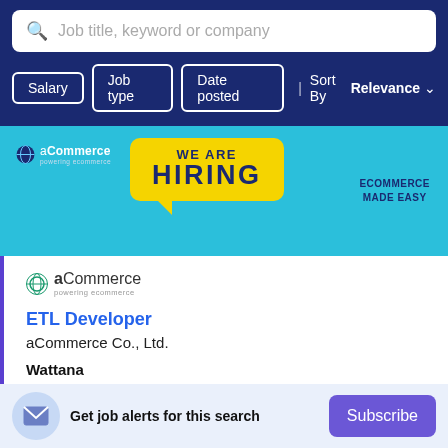[Figure (screenshot): Search bar with placeholder text 'Job title, keyword or company' and a magnifying glass icon, on a dark blue background]
[Figure (infographic): aCommerce 'WE ARE HIRING' banner with yellow speech bubble on a light blue background, with 'ECOMMERCE MADE EASY' text on the right]
[Figure (logo): aCommerce logo with globe icon and tagline 'powering ecommerce']
ETL Developer
aCommerce Co., Ltd.
Wattana
Get job alerts for this search